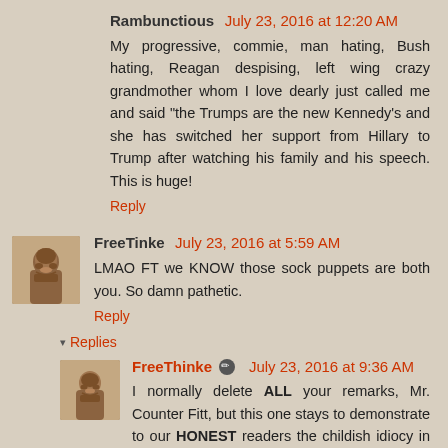Rambunctious July 23, 2016 at 12:20 AM
My progressive, commie, man hating, Bush hating, Reagan despising, left wing crazy grandmother whom I love dearly just called me and said "the Trumps are the new Kennedy's and she has switched her support from Hillary to Trump after watching his family and his speech. This is huge!
Reply
[Figure (photo): Small portrait avatar of a bearded man]
FreeTinke July 23, 2016 at 5:59 AM
LMAO FT we KNOW those sock puppets are both you. So damn pathetic.
Reply
Replies
[Figure (photo): Small portrait avatar of a bearded man]
FreeThinke July 23, 2016 at 9:36 AM
I normally delete ALL your remarks, Mr. Counter Fitt, but this one stays to demonstrate to our HONEST readers the childish idiocy in a large